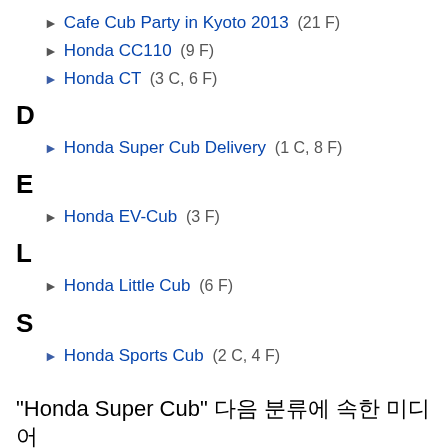Cafe Cub Party in Kyoto 2013 (21 F)
Honda CC110 (9 F)
Honda CT (3 C, 6 F)
D
Honda Super Cub Delivery (1 C, 8 F)
E
Honda EV-Cub (3 F)
L
Honda Little Cub (6 F)
S
Honda Sports Cub (2 C, 4 F)
"Honda Super Cub" 다음 분류에 속한 미디어